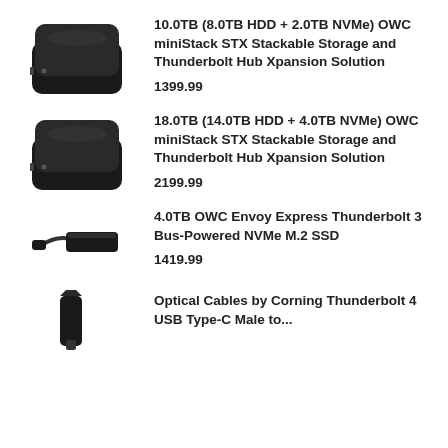[Figure (photo): OWC miniStack STX device - black square flat box]
10.0TB (8.0TB HDD + 2.0TB NVMe) OWC miniStack STX Stackable Storage and Thunderbolt Hub Xpansion Solution
1399.99
[Figure (photo): OWC miniStack STX device - black square flat box]
18.0TB (14.0TB HDD + 4.0TB NVMe) OWC miniStack STX Stackable Storage and Thunderbolt Hub Xpansion Solution
2199.99
[Figure (photo): OWC Envoy Express device - slim black bar with cable]
4.0TB OWC Envoy Express Thunderbolt 3 Bus-Powered NVMe M.2 SSD
1419.99
[Figure (photo): Optical cable connector - small black plug]
Optical Cables by Corning Thunderbolt 4 USB Type-C Male to...